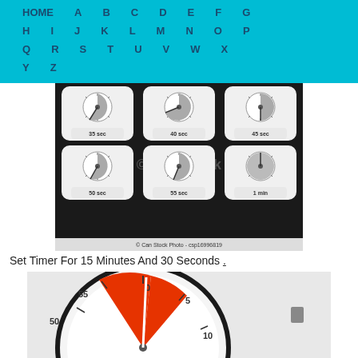HOME A B C D E F G H I J K L M N O P Q R S T U V W X Y Z
[Figure (photo): Grid of 6 analog timer clock faces showing different time intervals: 35 sec, 40 sec, 45 sec, 50 sec, 55 sec, 1 min. Can Stock Photo watermark visible. Caption: © Can Stock Photo - csp16996819]
Set Timer For 15 Minutes And 30 Seconds .
[Figure (photo): Close-up of an analog kitchen timer showing dial with 0 at top, red/orange sector, markings at 50, 55, 0, 5, 10, with a white hand pointer]